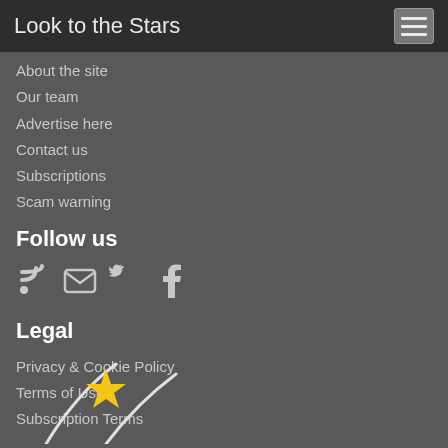Look to the Stars
About the site
Our team
Advertise here
Contact us
Subscriptions
Scam warning
Follow us
[Figure (illustration): Social media icons: RSS feed, Email, Twitter, Facebook]
Legal
Privacy & Cookie Policy
Terms of Use
Subscription Terms
[Figure (logo): Look to the Stars logo: white curved lines forming a shooting star with a yellow star shape]